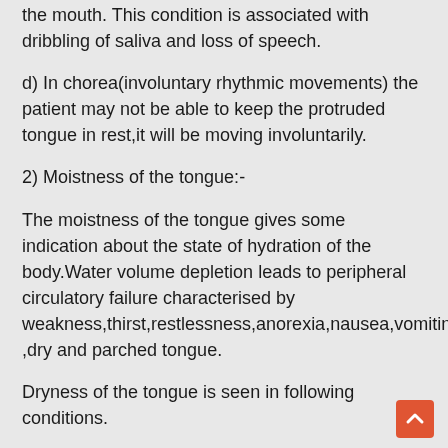the mouth. This condition is associated with dribbling of saliva and loss of speech.
d) In chorea(involuntary rhythmic movements) the patient may not be able to keep the protruded tongue in rest,it will be moving involuntarily.
2) Moistness of the tongue:-
The moistness of the tongue gives some indication about the state of hydration of the body.Water volume depletion leads to peripheral circulatory failure characterised by weakness,thirst,restlessness,anorexia,nausea,vomiting ,dry and parched tongue.
Dryness of the tongue is seen in following conditions.
a) Diarrhoea
b) Later stages of severe illness